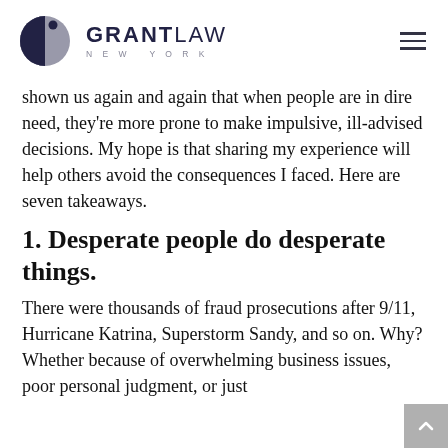GRANT LAW NEW YORK
shown us again and again that when people are in dire need, they're more prone to make impulsive, ill-advised decisions. My hope is that sharing my experience will help others avoid the consequences I faced. Here are seven takeaways.
1. Desperate people do desperate things.
There were thousands of fraud prosecutions after 9/11, Hurricane Katrina, Superstorm Sandy, and so on. Why? Whether because of overwhelming business issues, poor personal judgment, or just